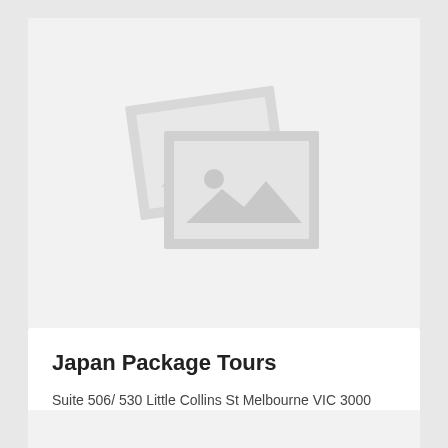[Figure (illustration): Placeholder image icon showing two overlapping photo frames with a landscape/mountain scene placeholder graphic in light grey tones]
Japan Package Tours
Suite 506/ 530 Little Collins St Melbourne VIC 3000
03 99097212